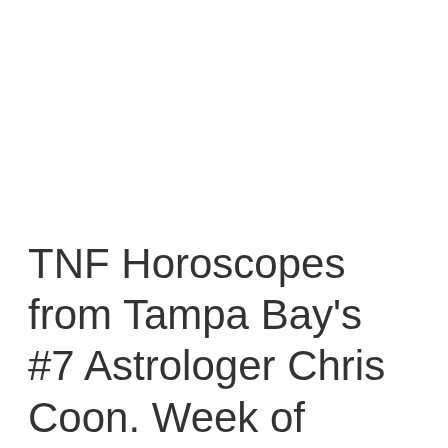TNF Horoscopes from Tampa Bay's #7 Astrologer Chris Coon. Week of August 1